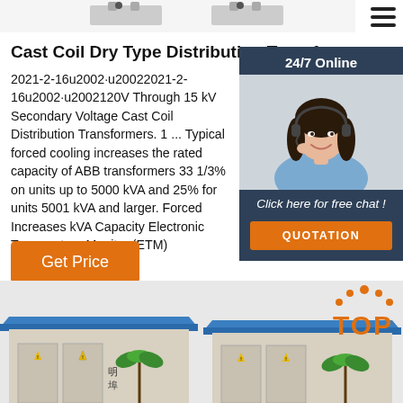[Figure (photo): Top strip showing partial view of transformer equipment against white background]
Cast Coil Dry Type Distribution Transformers
2021-2-16u2002·u20022021-2-16u2002·u2002120V Through 15 kV Secondary Voltage Cast Coil Distribution Transformers. 1 ... Typical forced cooling increases the rated capacity of ABB transformers 33 1/3% on units up to 5000 kVA and 25% for units 5001 kVA and larger. Forced Increases kVA Capacity Electronic Temperature Monitor (ETM)
[Figure (photo): Chat widget showing agent photo with 24/7 Online label, Click here for free chat!, and QUOTATION button on dark blue background]
[Figure (photo): Get Price orange button]
[Figure (photo): Bottom section showing two outdoor transformer substation units with blue roofs, palm tree decorations, and warning labels. TOP logo visible top-right.]